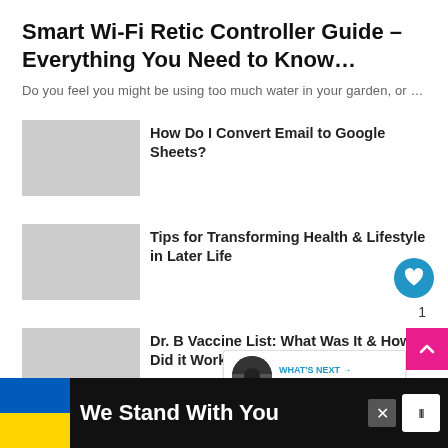Smart Wi-Fi Retic Controller Guide – Everything You Need to Know…
Do you feel you might be using too much water in your garden, or …
How Do I Convert Email to Google Sheets?
Tips for Transforming Health & Lifestyle in Later Life
Dr. B Vaccine List: What Was It & How Did it Work?
What are Static Residential Proxies and Why You
WHAT'S NEXT → Become a game…
We Stand With You